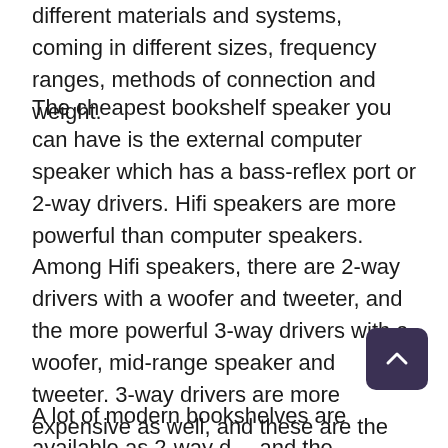different materials and systems, coming in different sizes, frequency ranges, methods of connection and weight.
The cheapest bookshelf speaker you can have is the external computer speaker which has a bass-reflex port or 2-way drivers. Hifi speakers are more powerful than computer speakers. Among Hifi speakers, there are 2-way drivers with a woofer and tweeter, and the more powerful 3-way drivers with a woofer, mid-range speaker and tweeter. 3-way drivers are more expensive as well, and these are the type of bookshelf-speakers that will give you good bass. Size matters as well, the bigger the size of woofers, the better bass it will produce. Bigger woofers have high tolerance limits and can handle high sound pressure levels (SPL), although they use more electrical power and need higher voltages than smaller speakers.
A lot of modern bookshelves are available as 2-way d… and the premium quality are often 3-way drivers. Examples